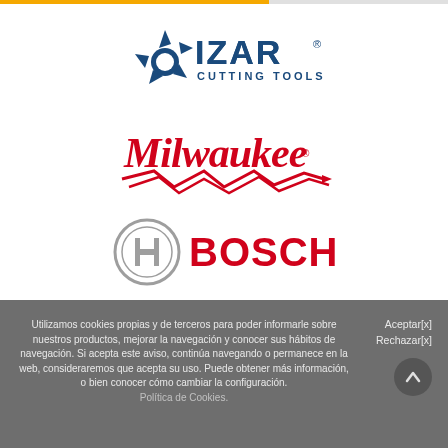[Figure (logo): IZAR Cutting Tools logo — blue star/gear icon with IZAR text and CUTTING TOOLS subtitle]
[Figure (logo): Milwaukee brand logo — red cursive Milwaukee script with lightning bolt underline, registered trademark]
[Figure (logo): Bosch logo — grey circular icon with H symbol and red BOSCH text]
Utilizamos cookies propias y de terceros para poder informarle sobre nuestros productos, mejorar la navegación y conocer sus hábitos de navegación. Si acepta este aviso, continúa navegando o permanece en la web, consideraremos que acepta su uso. Puede obtener más información, o bien conocer cómo cambiar la configuración.
Política de Cookies.
Aceptar[x]
Rechazar[x]